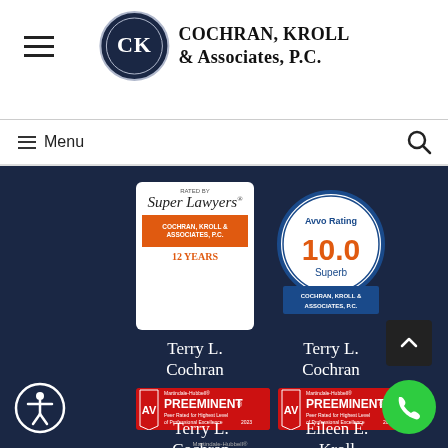[Figure (logo): Cochran, Kroll & Associates, P.C. law firm logo with CK monogram in navy circle and firm name text]
Menu
[Figure (illustration): Super Lawyers badge - Rated by Super Lawyers, Cochran Kroll & Associates P.C., 12 Years]
Terry L. Cochran
[Figure (illustration): Avvo Rating 10.0 Superb badge for Cochran, Kroll & Associates, P.C.]
Terry L. Cochran
[Figure (illustration): Martindale-Hubbell AV Preeminent badge for Terry L. Cochran 2023]
Terry L. Cochran
[Figure (illustration): Martindale-Hubbell AV Preeminent badge for Eileen E. Kroll 2023]
Eileen E. Kroll
[Figure (illustration): Martindale-Hubbell Client Champion badge (partially visible at bottom)]